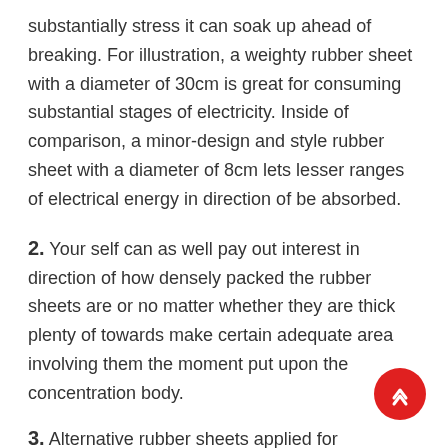substantially stress it can soak up ahead of breaking. For illustration, a weighty rubber sheet with a diameter of 30cm is great for consuming substantial stages of electricity. Inside of comparison, a minor-design and style rubber sheet with a diameter of 8cm lets lesser ranges of electrical energy in direction of be absorbed.
2. Your self can as well pay out interest in direction of how densely packed the rubber sheets are or no matter whether they are thick plenty of towards make certain adequate area involving them the moment put upon the concentration body.
3. Alternative rubber sheets applied for concentrate taking pictures are coloured or black and white. The larger the thickness, the more...